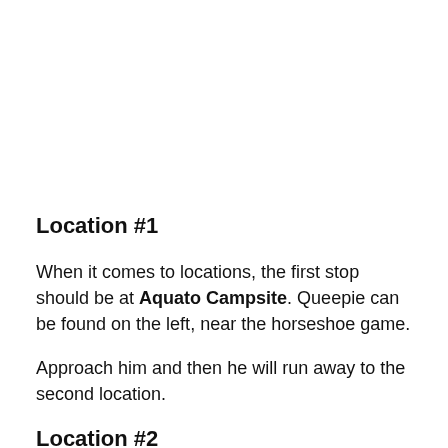Location #1
When it comes to locations, the first stop should be at Aquato Campsite. Queepie can be found on the left, near the horseshoe game.
Approach him and then he will run away to the second location.
Location #2